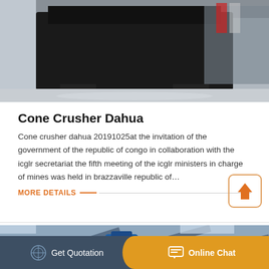[Figure (photo): Industrial machinery (cone crusher) inside a warehouse/factory setting, dark equipment on a light floor background.]
Cone Crusher Dahua
Cone crusher dahua 20191025at the invitation of the government of the republic of congo in collaboration with the icglr secretariat the fifth meeting of the icglr ministers in charge of mines was held in brazzaville republic of…
MORE DETAILS
[Figure (photo): Industrial conveyor or crane equipment inside a Chinese factory, with safety banners in Chinese characters visible.]
Get Quotation
Online Chat